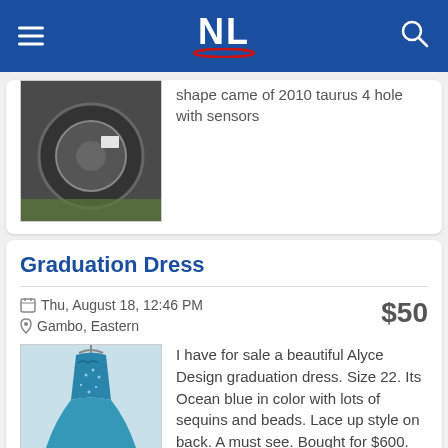NL
shape came of 2010 taurus 4 hole with sensors
Graduation Dress
Thu, August 18, 12:46 PM
Gambo, Eastern
$50
[Figure (photo): Photo of an ocean blue beaded graduation dress on a hanger]
I have for sale a beautiful Alyce Design graduation dress. Size 22. Its Ocean blue in color with lots of sequins and beads. Lace up style on back. A must see. Bought for $600.
White sheppard's